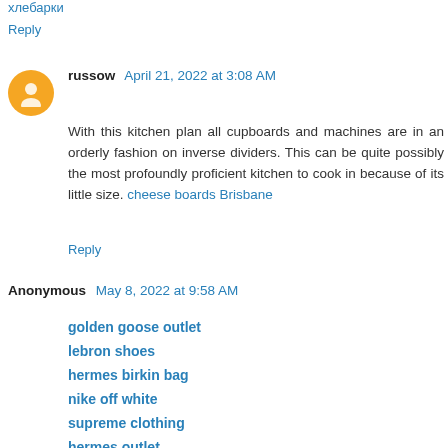хлебарки
Reply
russow  April 21, 2022 at 3:08 AM
With this kitchen plan all cupboards and machines are in an orderly fashion on inverse dividers. This can be quite possibly the most profoundly proficient kitchen to cook in because of its little size. cheese boards Brisbane
Reply
Anonymous  May 8, 2022 at 9:58 AM
golden goose outlet
lebron shoes
hermes birkin bag
nike off white
supreme clothing
hermes outlet
golden goose starter
jordan shoes